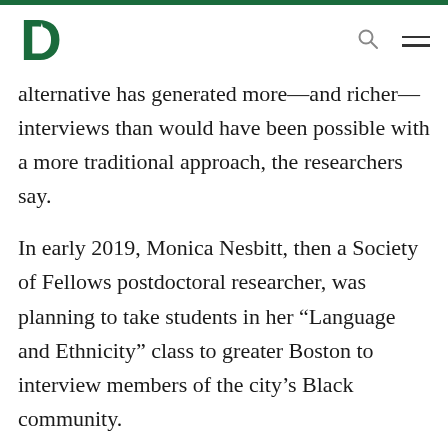[Figure (logo): Dartmouth College pine tree logo in green]
alternative has generated more—and richer—interviews than would have been possible with a more traditional approach, the researchers say.
In early 2019, Monica Nesbitt, then a Society of Fellows postdoctoral researcher, was planning to take students in her “Language and Ethnicity” class to greater Boston to interview members of the city’s Black community.